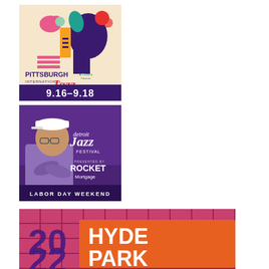[Figure (illustration): Pittsburgh International Jazz Festival 2022 logo and poster. Colorful abstract illustration with musical instruments and figures. Text: Pittsburgh International Jazz Festival 2022, 9.16-9.18, Citizens (sponsor). Purple bottom bar with white date text.]
[Figure (photo): Detroit Jazz Festival poster presented by Rocket Mortgage. Purple background with photo of a man in a white hat and lavender jacket with arms crossed. Script 'detroit Jazz FESTIVAL' text and 'PRESENTED BY ROCKET Mortgage' text. Bottom bar reads 'LABOR DAY WEEKEND'.]
[Figure (illustration): Hyde Park Jazz Festival 2022 poster. Red/pink tiled grid background. Large text: '20' in dark purple, '22' below it, 'HYDE PARK' in white on orange background. Partially cropped at bottom.]